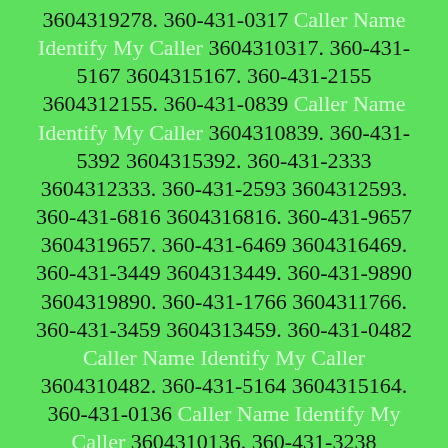3604319278. 360-431-0317 Caller Name Identify My Caller 3604310317. 360-431-5167 3604315167. 360-431-2155 3604312155. 360-431-0839 Caller Name Identify My Caller 3604310839. 360-431-5392 3604315392. 360-431-2333 3604312333. 360-431-2593 3604312593. 360-431-6816 3604316816. 360-431-9657 3604319657. 360-431-6469 3604316469. 360-431-3449 3604313449. 360-431-9890 3604319890. 360-431-1766 3604311766. 360-431-3459 3604313459. 360-431-0482 Caller Name Identify My Caller 3604310482. 360-431-5164 3604315164. 360-431-0136 Caller Name Identify My Caller 3604310136. 360-431-3238 3604313238. 360-431-3294 3604313294. 360-431-6916 3604316916. 360-431-5797 3604315797. 360-431-4775 3604314775. 360-431-0804 Caller Name Identify My Caller 3604310804. 360-